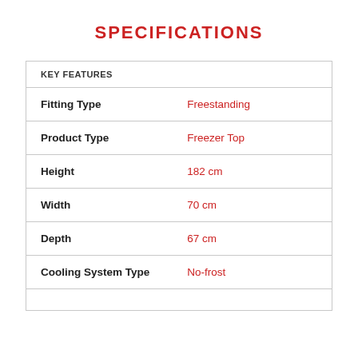SPECIFICATIONS
| KEY FEATURES |  |
| --- | --- |
| Fitting Type | Freestanding |
| Product Type | Freezer Top |
| Height | 182 cm |
| Width | 70 cm |
| Depth | 67 cm |
| Cooling System Type | No-frost |